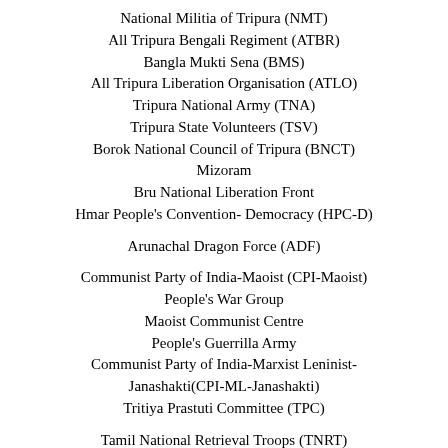National Militia of Tripura (NMT)
All Tripura Bengali Regiment (ATBR)
Bangla Mukti Sena (BMS)
All Tripura Liberation Organisation (ATLO)
Tripura National Army (TNA)
Tripura State Volunteers (TSV)
Borok National Council of Tripura (BNCT)
Mizoram
Bru National Liberation Front
Hmar People's Convention- Democracy (HPC-D)
Arunachal Dragon Force (ADF)
Communist Party of India-Maoist (CPI-Maoist)
People's War Group
Maoist Communist Centre
People's Guerrilla Army
Communist Party of India-Marxist Leninist-Janashakti(CPI-ML-Janashakti)
Tritiya Prastuti Committee (TPC)
Tamil National Retrieval Troops (TNRT)
Akhil Bharat Nepali Ekta Samaj (ABNES)
Tamil Nadu Liberation Army (TNLA)